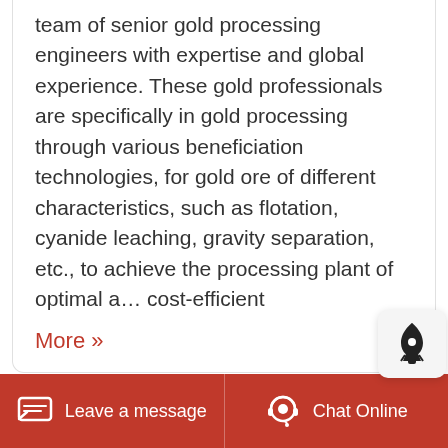team of senior gold processing engineers with expertise and global experience. These gold professionals are specifically in gold processing through various beneficiation technologies, for gold ore of different characteristics, such as flotation, cyanide leaching, gravity separation, etc., to achieve the processing plant of optimal and cost-efficient
More »
Your Full Flowsheet Provider For The Best In Mining
Leave a message   Chat Online